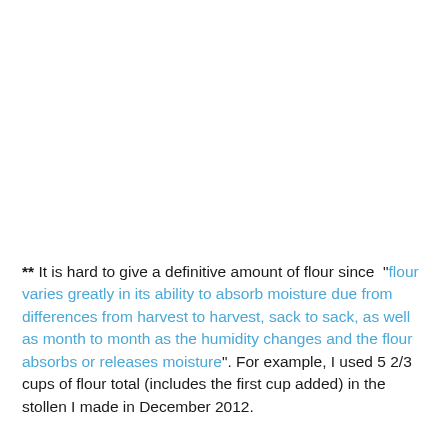** It is hard to give a definitive amount of flour since  "flour varies greatly in its ability to absorb moisture due from differences from harvest to harvest, sack to sack, as well as month to month as the humidity changes and the flour absorbs or releases moisture". For example, I used 5 2/3 cups of flour total (includes the first cup added) in the stollen I made in December 2012.